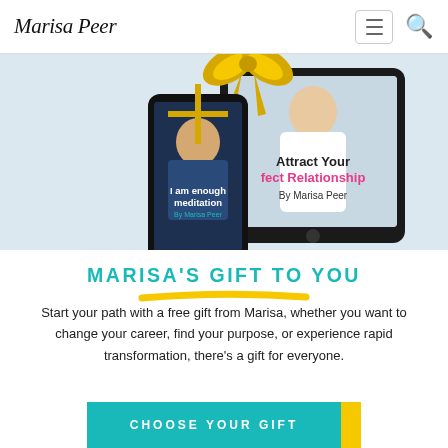Marisa Peer
[Figure (illustration): Promotional image showing a phone with 'I am enough meditation by Marisa Peer' app and a tablet with 'Attract Your Perfect Relationship by Marisa Peer' book cover, decorated with a gold ribbon bow.]
MARISA'S GIFT TO YOU
Start your path with a free gift from Marisa, whether you want to change your career, find your purpose, or experience rapid transformation, there's a gift for everyone.
CHOOSE YOUR GIFT